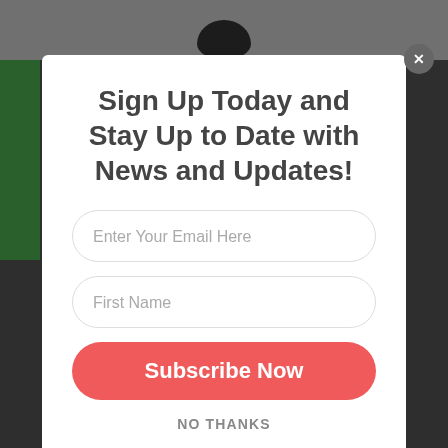[Figure (screenshot): Website popup modal for newsletter sign up with email and name fields and subscribe button]
Sign Up Today and Stay Up to Date with News and Updates!
Enter Your Email Here
First Name
Subscribe Now
NO THANKS